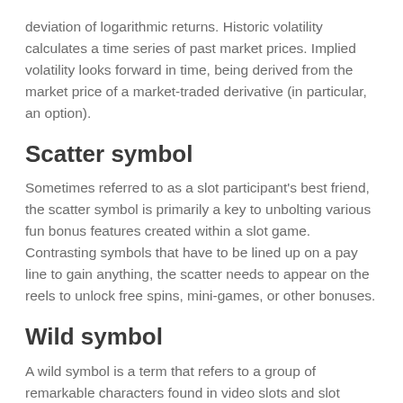deviation of logarithmic returns. Historic volatility calculates a time series of past market prices. Implied volatility looks forward in time, being derived from the market price of a market-traded derivative (in particular, an option).
Scatter symbol
Sometimes referred to as a slot participant's best friend, the scatter symbol is primarily a key to unbolting various fun bonus features created within a slot game. Contrasting symbols that have to be lined up on a pay line to gain anything, the scatter needs to appear on the reels to unlock free spins, mini-games, or other bonuses.
Wild symbol
A wild symbol is a term that refers to a group of remarkable characters found in video slots and slot machine games. You must land a winning combination of three or more symbols on an active pay line. Every slot game comes with